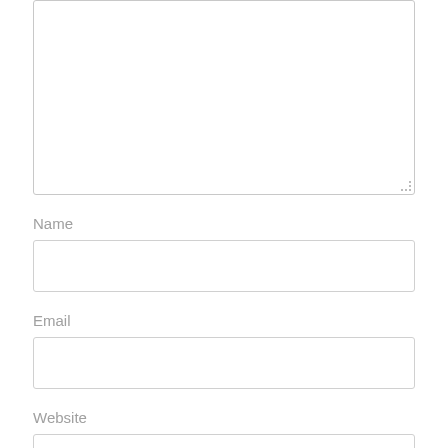[Figure (other): Large empty textarea input box with resize handle at bottom-right corner]
Name
[Figure (other): Single-line text input field for Name]
Email
[Figure (other): Single-line text input field for Email]
Website
[Figure (other): Single-line text input field for Website (partially visible)]